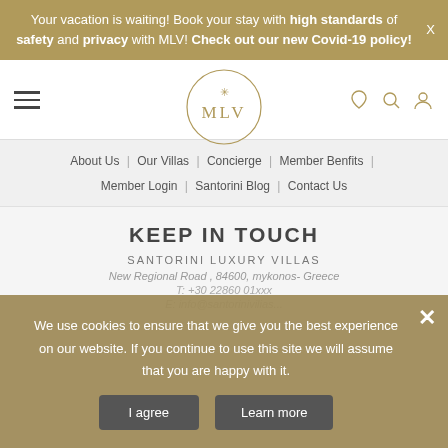Your vacation is waiting! Book your stay with high standards of safety and privacy with MLV! Check out our new Covid-19 policy!
[Figure (logo): MLV circular logo with decorative icon above text MLV]
About Us | Our Villas | Concierge | Member Benfits | Member Login | Santorini Blog | Contact Us
KEEP IN TOUCH
SANTORINI LUXURY VILLAS
New Regional Road , 84600, mykonos- Greece
We use cookies to ensure that we give you the best experience on our website. If you continue to use this site we will assume that you are happy with it.